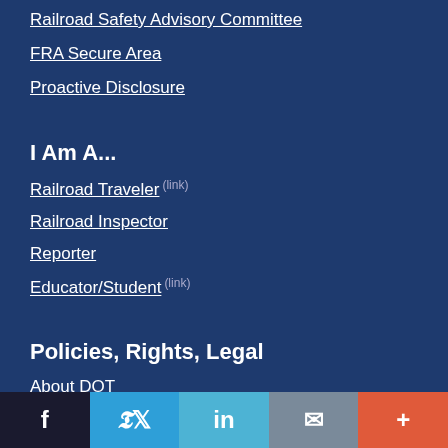Railroad Safety Advisory Committee
FRA Secure Area
Proactive Disclosure
I Am A...
Railroad Traveler (link)
Railroad Inspector
Reporter
Educator/Student (link)
Policies, Rights, Legal
About DOT
Facebook | Twitter | LinkedIn | Email | More